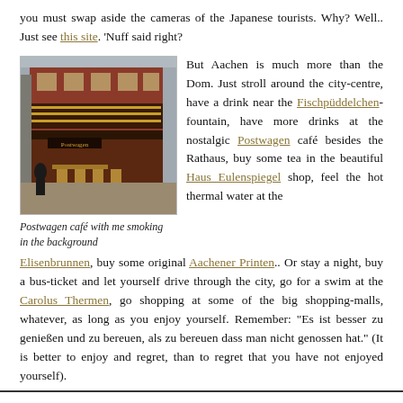you must swap aside the cameras of the Japanese tourists. Why? Well.. Just see this site. 'Nuff said right?
[Figure (photo): Street-level photo of Postwagen café, a historic multi-story building with red facade and decorative balcony, outdoor seating visible, person in foreground.]
Postwagen café with me smoking in the background
But Aachen is much more than the Dom. Just stroll around the city-centre, have a drink near the Fischpüddelchen-fountain, have more drinks at the nostalgic Postwagen café besides the Rathaus, buy some tea in the beautiful Haus Eulenspiegel shop, feel the hot thermal water at the Elisenbrunnen, buy some original Aachener Printen.. Or stay a night, buy a bus-ticket and let yourself drive through the city, go for a swim at the Carolus Thermen, go shopping at some of the big shopping-malls, whatever, as long as you enjoy yourself. Remember: "Es ist besser zu genießen und zu bereuen, als zu bereuen dass man nicht genossen hat." (It is better to enjoy and regret, than to regret that you have not enjoyed yourself).